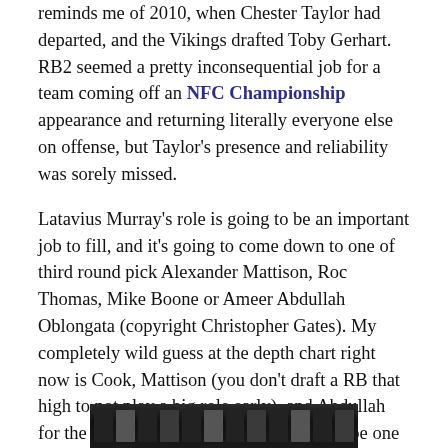reminds me of 2010, when Chester Taylor had departed, and the Vikings drafted Toby Gerhart. RB2 seemed a pretty inconsequential job for a team coming off an NFC Championship appearance and returning literally everyone else on offense, but Taylor's presence and reliability was sorely missed.
Latavius Murray's role is going to be an important job to fill, and it's going to come down to one of third round pick Alexander Mattison, Roc Thomas, Mike Boone or Ameer Abdullah Oblongata (copyright Christopher Gates). My completely wild guess at the depth chart right now is Cook, Mattison (you don't draft a RB that high to not play a big role early), and Abdullah for the vet experience, but this is going to be one of the most hotly contested jobs as the summer unfolds.
[Figure (photo): Partial image visible at bottom of page, appears to be a dark photograph, only top portion visible.]